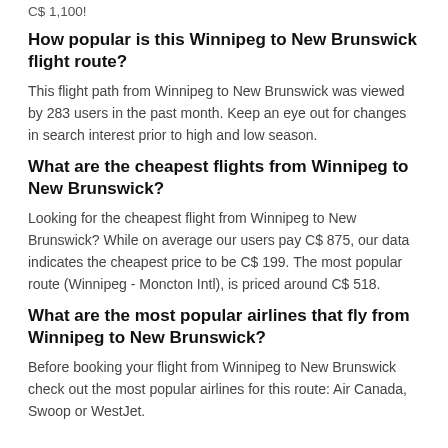C$ 1,100!
How popular is this Winnipeg to New Brunswick flight route?
This flight path from Winnipeg to New Brunswick was viewed by 283 users in the past month. Keep an eye out for changes in search interest prior to high and low season.
What are the cheapest flights from Winnipeg to New Brunswick?
Looking for the cheapest flight from Winnipeg to New Brunswick? While on average our users pay C$ 875, our data indicates the cheapest price to be C$ 199. The most popular route (Winnipeg - Moncton Intl), is priced around C$ 518.
What are the most popular airlines that fly from Winnipeg to New Brunswick?
Before booking your flight from Winnipeg to New Brunswick check out the most popular airlines for this route: Air Canada, Swoop or WestJet.